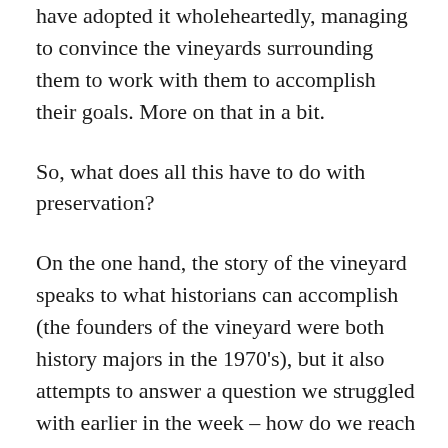have adopted it wholeheartedly, managing to convince the vineyards surrounding them to work with them to accomplish their goals. More on that in a bit.
So, what does all this have to do with preservation?
On the one hand, the story of the vineyard speaks to what historians can accomplish (the founders of the vineyard were both history majors in the 1970's), but it also attempts to answer a question we struggled with earlier in the week – how do we reach the public and show them that sustainability is a part of